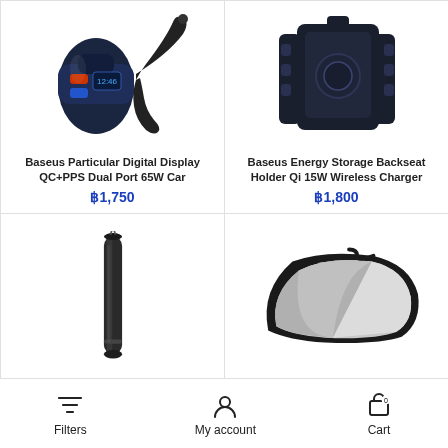[Figure (photo): Baseus car charger with dual ports and USB-C cable, dark blue/black product photo on white background]
Baseus Particular Digital Display QC+PPS Dual Port 65W Car
฿1,750
[Figure (photo): Baseus Energy Storage Backseat Holder Qi 15W Wireless Charger, black phone holder/charger on white background]
Baseus Energy Storage Backseat Holder Qi 15W Wireless Charger
฿1,800
[Figure (photo): Baseus black cylindrical pen-shaped car accessory on white background]
[Figure (photo): Baseus black car blind-spot mirror on white background]
Filters   My account   Cart